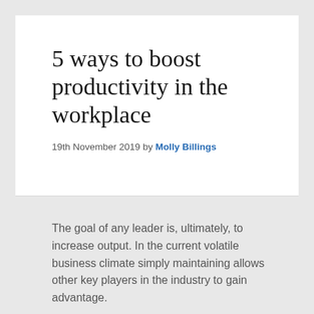5 ways to boost productivity in the workplace
19th November 2019 by Molly Billings
The goal of any leader is, ultimately, to increase output. In the current volatile business climate simply maintaining allows other key players in the industry to gain advantage.
[Figure (photo): Photo of people in a workplace/meeting setting, partially visible at bottom of page]